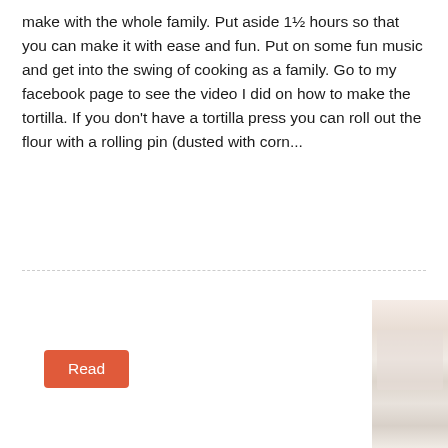make with the whole family. Put aside 1½ hours so that you can make it with ease and fun. Put on some fun music and get into the swing of cooking as a family. Go to my facebook page to see the video I did on how to make the tortilla. If you don't have a tortilla press you can roll out the flour with a rolling pin (dusted with corn...
Read
[Figure (photo): Partial photo of a food dish, cropped at the right edge of the page, showing what appears to be a white bowl or plate with food content, light beige and white tones.]